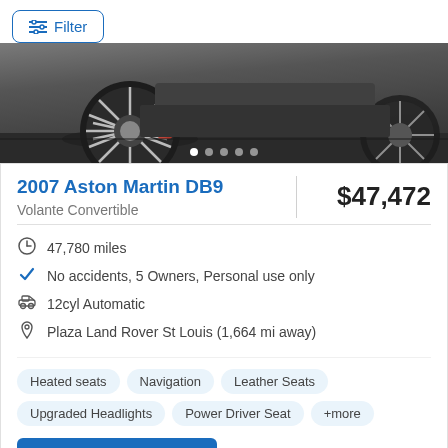Filter
[Figure (photo): Close-up photo of the rear wheel and lower body of a dark gray Aston Martin DB9, showing a multi-spoke alloy wheel and red brake caliper in a showroom setting.]
2007 Aston Martin DB9
$47,472
Volante Convertible
47,780 miles
No accidents, 5 Owners, Personal use only
12cyl Automatic
Plaza Land Rover St Louis (1,664 mi away)
Heated seats  Navigation  Leather Seats  Upgraded Headlights  Power Driver Seat  +more
Check Availability